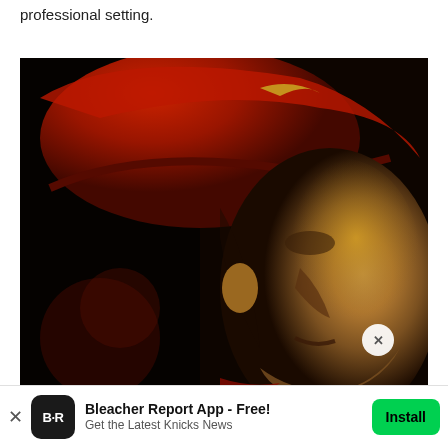professional setting.
[Figure (photo): Close-up photo of a man looking upward, wearing a red baseball cap, dark background with dramatic lighting highlighting his face]
Bleacher Report App - Free! Get the Latest Knicks News  Install